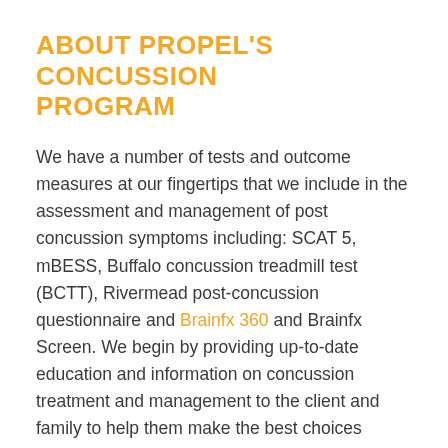ABOUT PROPEL'S CONCUSSION PROGRAM
We have a number of tests and outcome measures at our fingertips that we include in the assessment and management of post concussion symptoms including: SCAT 5, mBESS, Buffalo concussion treadmill test (BCTT), Rivermead post-concussion questionnaire and Brainfx 360 and Brainfx Screen. We begin by providing up-to-date education and information on concussion treatment and management to the client and family to help them make the best choices regarding their care.
Treatment includes a comprehensive physical assessment, physician referral (where necessary), baseline testing of relevant physical